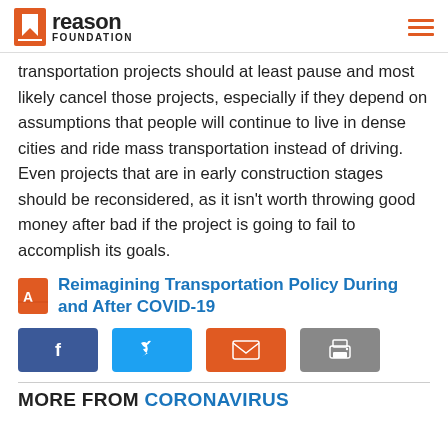Reason Foundation
transportation projects should at least pause and most likely cancel those projects, especially if they depend on assumptions that people will continue to live in dense cities and ride mass transportation instead of driving. Even projects that are in early construction stages should be reconsidered, as it isn't worth throwing good money after bad if the project is going to fail to accomplish its goals.
Reimagining Transportation Policy During and After COVID-19
[Figure (infographic): Social sharing buttons: Facebook (blue), Twitter (cyan), Email (orange), Print (gray)]
MORE FROM CORONAVIRUS